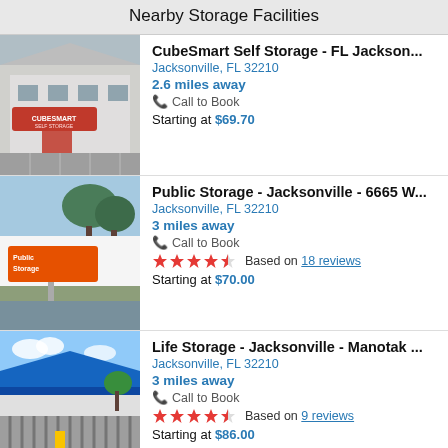Nearby Storage Facilities
CubeSmart Self Storage - FL Jackson... | Jacksonville, FL 32210 | 2.6 miles away | Call to Book | Starting at $69.70
Public Storage - Jacksonville - 6665 W... | Jacksonville, FL 32210 | 3 miles away | Call to Book | Based on 18 reviews | Starting at $70.00
Life Storage - Jacksonville - Manotak ... | Jacksonville, FL 32210 | 3 miles away | Call to Book | Based on 9 reviews | Starting at $86.00